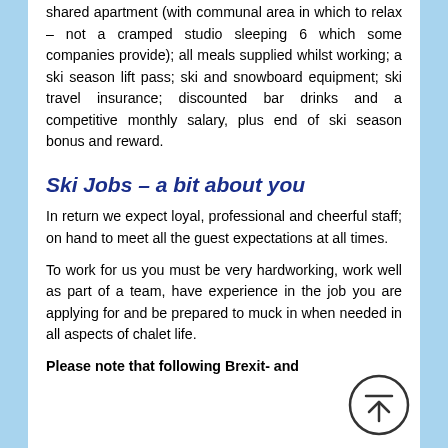shared apartment (with communal area in which to relax – not a cramped studio sleeping 6 which some companies provide); all meals supplied whilst working; a ski season lift pass; ski and snowboard equipment; ski travel insurance; discounted bar drinks and a competitive monthly salary, plus end of ski season bonus and reward.
Ski Jobs – a bit about you
In return we expect loyal, professional and cheerful staff; on hand to meet all the guest expectations at all times.
To work for us you must be very hardworking, work well as part of a team, have experience in the job you are applying for and be prepared to muck in when needed in all aspects of chalet life.
Please note that following Brexit- and